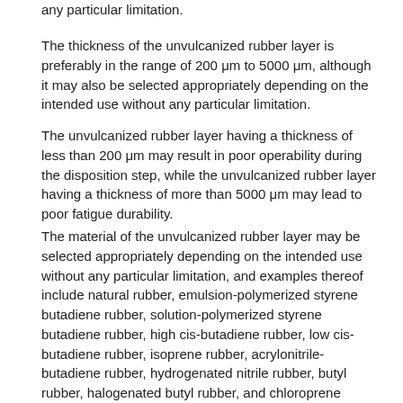any particular limitation.
The thickness of the unvulcanized rubber layer is preferably in the range of 200 μm to 5000 μm, although it may also be selected appropriately depending on the intended use without any particular limitation.
The unvulcanized rubber layer having a thickness of less than 200 μm may result in poor operability during the disposition step, while the unvulcanized rubber layer having a thickness of more than 5000 μm may lead to poor fatigue durability.
The material of the unvulcanized rubber layer may be selected appropriately depending on the intended use without any particular limitation, and examples thereof include natural rubber, emulsion-polymerized styrene butadiene rubber, solution-polymerized styrene butadiene rubber, high cis-butadiene rubber, low cis-butadiene rubber, isoprene rubber, acrylonitrile-butadiene rubber, hydrogenated nitrile rubber, butyl rubber, halogenated butyl rubber, and chloroprene rubber. These examples may be used alone or in combination of two or more.
Among these, preferred is natural rubber in terms of co-crosslinkability with the adhesion layer, fatigue resistance and tackiness.
In addition, the unvulcanized rubber layer may be blended as appropriate with carbon black, sulfur, a vulcanization accelerator, an age resister, an